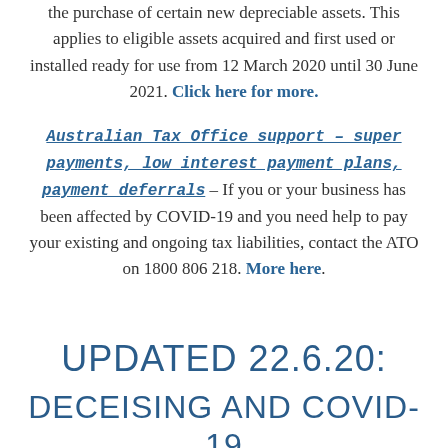the purchase of certain new depreciable assets. This applies to eligible assets acquired and first used or installed ready for use from 12 March 2020 until 30 June 2021. Click here for more.
Australian Tax Office support – super payments, low interest payment plans, payment deferrals – If you or your business has been affected by COVID-19 and you need help to pay your existing and ongoing tax liabilities, contact the ATO on 1800 806 218. More here.
UPDATED 22.6.20:
DECEISING AND COVID-19